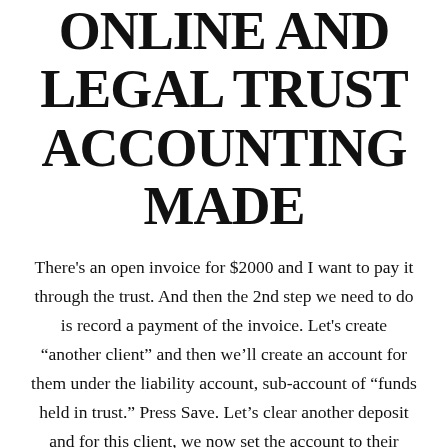ONLINE AND LEGAL TRUST ACCOUNTING MADE
There's an open invoice for $2000 and I want to pay it through the trust. And then the 2nd step we need to do is record a payment of the invoice. Let's create “another client” and then we’ll create an account for them under the liability account, sub-account of “funds held in trust.” Press Save. Let’s clear another deposit and for this client, we now set the account to their account under “funds held in trust.” It’s another retainer. $2000 from the other client and $5000 from the sample client.